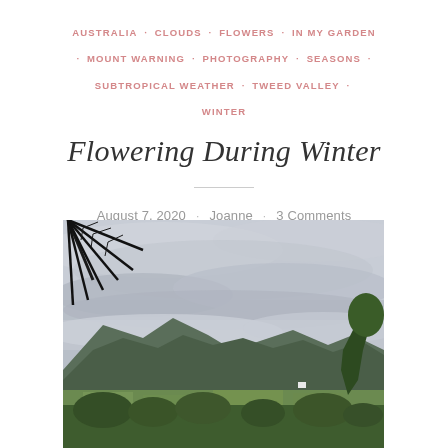AUSTRALIA · CLOUDS · FLOWERS · IN MY GARDEN · MOUNT WARNING · PHOTOGRAPHY · SEASONS · SUBTROPICAL WEATHER · TWEED VALLEY · WINTER
Flowering During Winter
August 7, 2020 · Joanne · 3 Comments
[Figure (photo): Landscape photograph showing a wide valley view with mountains in the background under heavy overcast grey clouds, with low cloud banks rolling over the hills. In the upper left corner, dark palm fronds are visible. The foreground shows dense green vegetation and trees, with open farmland in the middle distance and forested hills and mountains beyond.]